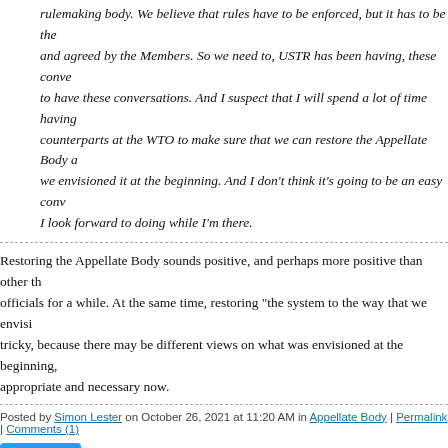rulemaking body. We believe that rules have to be enforced, but it has to be the and agreed by the Members. So we need to, USTR has been having, these conve to have these conversations. And I suspect that I will spend a lot of time having counterparts at the WTO to make sure that we can restore the Appellate Body a we envisioned it at the beginning. And I don't think it's going to be an easy con I look forward to doing while I'm there.
Restoring the Appellate Body sounds positive, and perhaps more positive than other th officials for a while. At the same time, restoring "the system to the way that we envisi tricky, because there may be different views on what was envisioned at the beginning, appropriate and necessary now.
Posted by Simon Lester on October 26, 2021 at 11:20 AM in Appellate Body | Permalink | Comments (1)
Tweet
ACWL 20 Year Anniversary Event
From the ACWL:
The ACWL is celebrating its 20th anniversary this year. To celebrate this occa